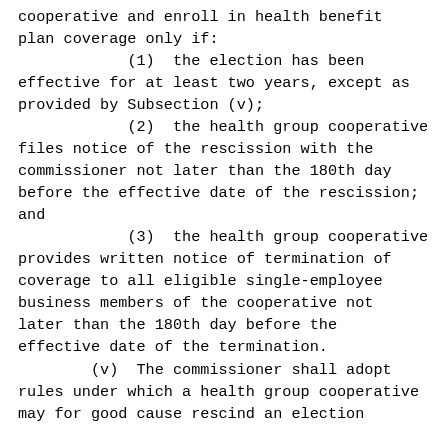cooperative and enroll in health benefit plan coverage only if:
(1)  the election has been effective for at least two years, except as provided by Subsection (v);
(2)  the health group cooperative files notice of the rescission with the commissioner not later than the 180th day before the effective date of the rescission; and
(3)  the health group cooperative provides written notice of termination of coverage to all eligible single-employee business members of the cooperative not later than the 180th day before the effective date of the termination.
(v)  The commissioner shall adopt rules under which a health group cooperative may for good cause rescind an election